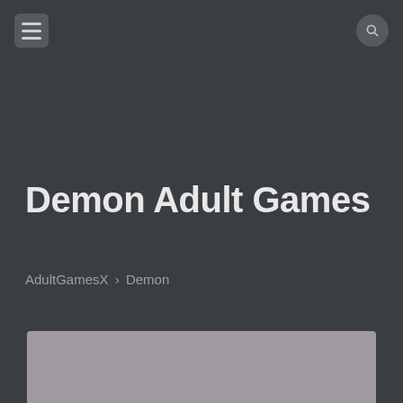[Menu button] [Search button]
Demon Adult Games
AdultGamesX › Demon
[Figure (other): Gray placeholder image block at bottom of page]